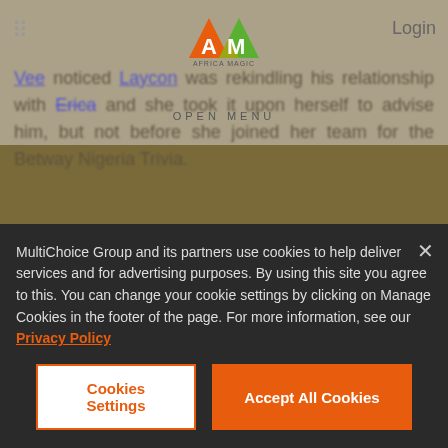OPEN MENU | Login
Vee noticed Laycon was rekindling his relationship with Erica and she took it upon herself to advise him, but not before she joined her team for the Betway Nigeria Trivia.
It's a win for Team White
The Housemates put on their game faces and their trivia hats as they battled against each other for this week's Betway Nigeria Trivia. In the end, Team White won. As usual, they had to first
MultiChoice Group and its partners use cookies to help deliver services and for advertising purposes. By using this site you agree to this. You can change your cookie settings by clicking on Manage Cookies in the footer of the page. For more information, see our Privacy Policy